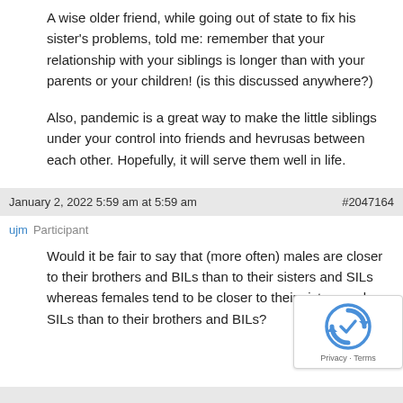A wise older friend, while going out of state to fix his sister's problems, told me: remember that your relationship with your siblings is longer than with your parents or your children! (is this discussed anywhere?)
Also, pandemic is a great way to make the little siblings under your control into friends and hevrusas between each other. Hopefully, it will serve them well in life.
January 2, 2022 5:59 am at 5:59 am	#2047164
ujm  Participant
Would it be fair to say that (more often) males are closer to their brothers and BILs than to their sisters and SILs whereas females tend to be closer to their sisters and SILs than to their brothers and BILs?